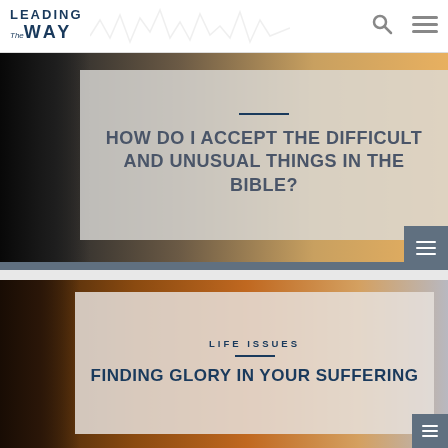Leading The Way
[Figure (screenshot): Website screenshot showing a card with title 'HOW DO I ACCEPT THE DIFFICULT AND UNUSUAL THINGS IN THE BIBLE?' over a translucent overlay on a dark background image]
HOW DO I ACCEPT THE DIFFICULT AND UNUSUAL THINGS IN THE BIBLE?
[Figure (screenshot): Website screenshot showing a second card with category 'LIFE ISSUES' and title 'FINDING GLORY IN YOUR SUFFERING' over a translucent overlay on a fiery background image]
LIFE ISSUES
FINDING GLORY IN YOUR SUFFERING